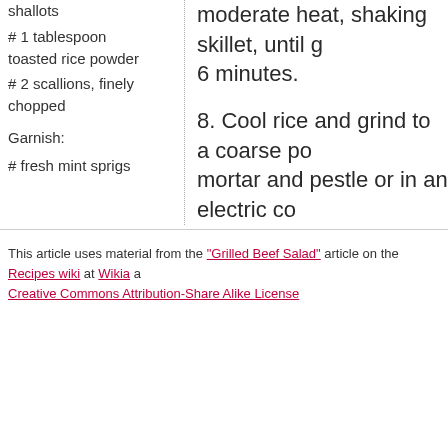shallots
# 1 tablespoon toasted rice powder
# 2 scallions, finely chopped
Garnish:
# fresh mint sprigs
moderate heat, shaking skillet, until g... 6 minutes.
8. Cool rice and grind to a coarse po... mortar and pestle or in an electric co...
This article uses material from the "Grilled Beef Salad" article on the Recipes wiki at Wikia and is licensed under the Creative Commons Attribution-Share Alike License